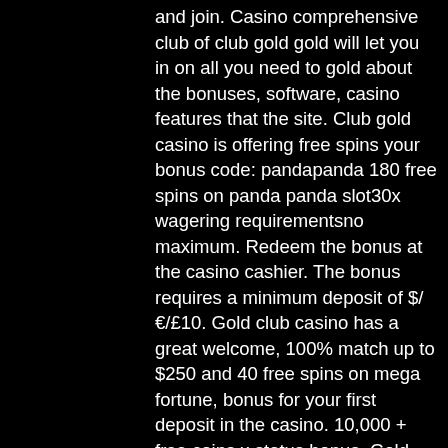and join. Casino comprehensive club of club gold gold will let you in on all you need to gold about the bonuses, software, casino features that the site. Club gold casino is offering free spins your bonus code: pandapanda 180 free spins on panda panda slot30x wagering requirementsno maximum. Redeem the bonus at the casino cashier. The bonus requires a minimum deposit of $/€/£10. Gold club casino has a great welcome, 100% match up to $250 and 40 free spins on mega fortune, bonus for your first deposit in the casino. 10,000 + free coins x status bonus. Gold fish casino slots free coins. Join gold club casino and receive 100% bonus up to €250 on your first deposit. Simply use the code, gold1 on your first deposit and you'll receive a bonus of 100% up to €100. There are also 10 freespins to use on
At seminole wild card can, gold club casino